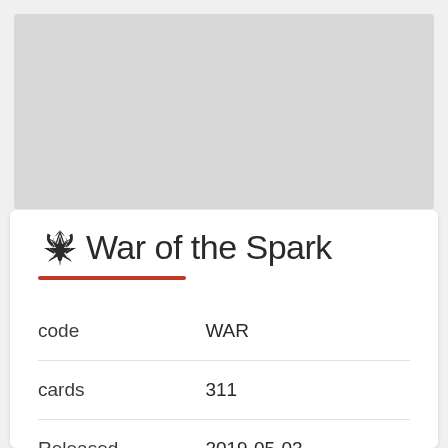[Figure (other): Gray placeholder image rectangle at the top of the page]
War of the Spark
|  |  |
| --- | --- |
| code | WAR |
| cards | 311 |
| Released | 2019-05-03 |
| Type | Expansion |